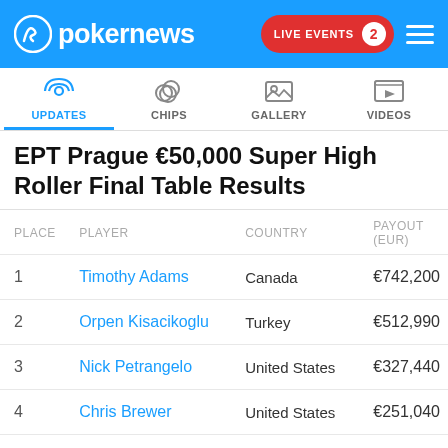pokernews | LIVE EVENTS 2
[Figure (screenshot): Navigation tabs: UPDATES (active), CHIPS, GALLERY, VIDEOS]
EPT Prague €50,000 Super High Roller Final Table Results
| PLACE | PLAYER | COUNTRY | PAYOUT (EUR) |
| --- | --- | --- | --- |
| 1 | Timothy Adams | Canada | €742,200 |
| 2 | Orpen Kisacikoglu | Turkey | €512,990 |
| 3 | Nick Petrangelo | United States | €327,440 |
| 4 | Chris Brewer | United States | €251,040 |
| 5 | Adrian Mateos | Spain | €196,470 |
| 6 | Yuri Dzivielevski | Brazil | €153,810 |